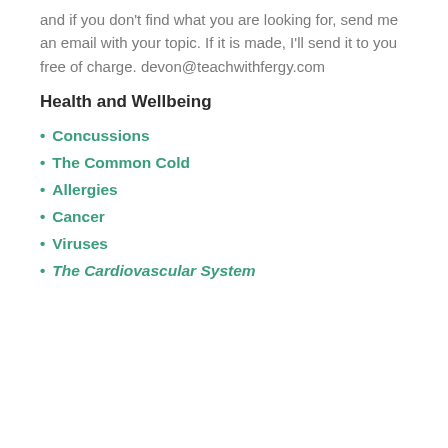and if you don't find what you are looking for, send me an email with your topic. If it is made, I'll send it to you free of charge. devon@teachwithfergy.com
Health and Wellbeing
Concussions
The Common Cold
Allergies
Cancer
Viruses
The Cardiovascular System